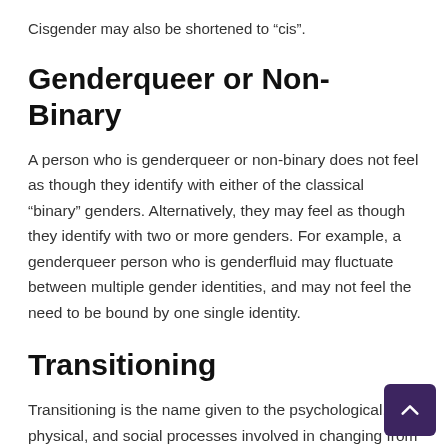Cisgender may also be shortened to “cis”.
Genderqueer or Non-Binary
A person who is genderqueer or non-binary does not feel as though they identify with either of the classical “binary” genders. Alternatively, they may feel as though they identify with two or more genders. For example, a genderqueer person who is genderfluid may fluctuate between multiple gender identities, and may not feel the need to be bound by one single identity.
Transitioning
Transitioning is the name given to the psychological, physical, and social processes involved in changing from an assigned gender to an acquired gender. Each trans individual will undergo transitioning and documenting their internal and...